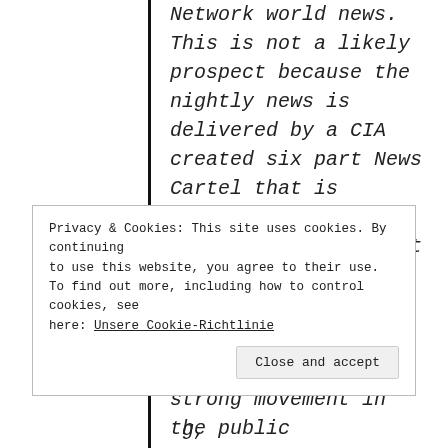Network world news. This is not a likely prospect because the nightly news is delivered by a CIA created six part News Cartel that is functioning as an illegal monopoly that must be broken up into a thousand pieces.
“There has been a strong movement in the public
Privacy & Cookies: This site uses cookies. By continuing to use this website, you agree to their use. To find out more, including how to control cookies, see here: Unsere Cookie-Richtlinie
Close and accept